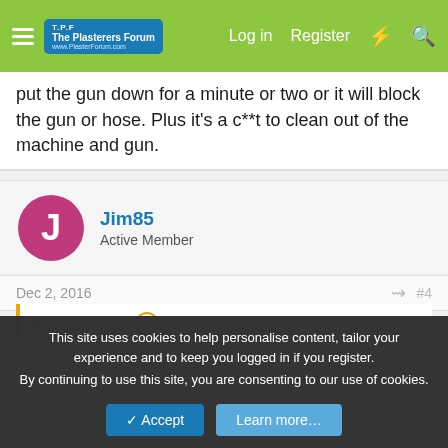The Plasterers Forum — Log in  Register
put the gun down for a minute or two or it will block the gun or hose. Plus it's a c**t to clean out of the machine and gun.
Jim85
Active Member
Dec 2, 2016  #4
theclemo said: ⊕
95% of the people on here use pft machines on here but nobody sprays multi. I spray mp finish as it's made to spray. I used to spray multi years ago but had a lot of problems spraying it tbh. Never had a problem with mp finish. Multi will spray but u can't put the gun down for a minute or two or it will block the gun or hose. Plus it's a c**t to
This site uses cookies to help personalise content, tailor your experience and to keep you logged in if you register.
By continuing to use this site, you are consenting to our use of cookies.